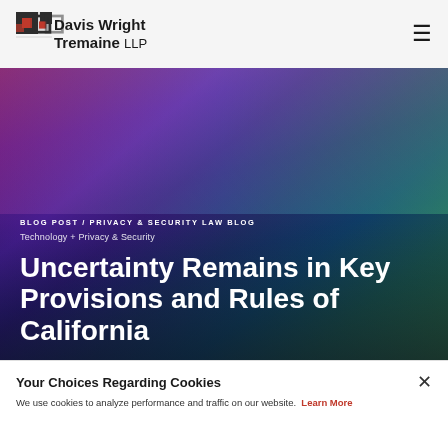Davis Wright Tremaine LLP
[Figure (screenshot): Hero image with colorful keyboard background in purple, pink, and teal tones]
BLOG POST / PRIVACY & SECURITY LAW BLOG
Technology + Privacy & Security
Uncertainty Remains in Key Provisions and Rules of California
Your Choices Regarding Cookies
We use cookies to analyze performance and traffic on our website. Learn More